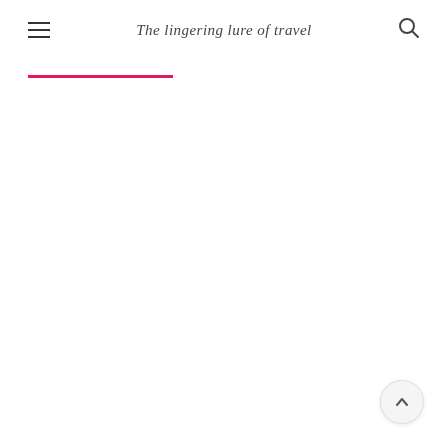The lingering lure of travel
[Figure (other): Pink/magenta horizontal decorative rule beneath the page header]
[Figure (other): Back-to-top circular button with upward chevron arrow in bottom-right corner]